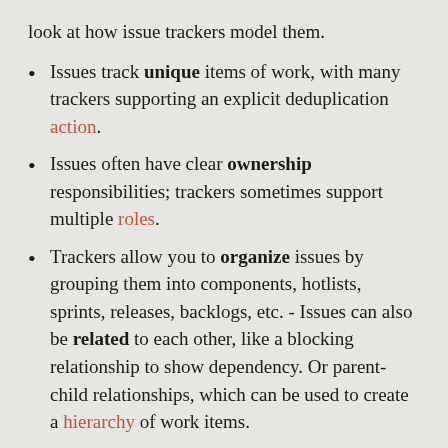look at how issue trackers model them.
Issues track unique items of work, with many trackers supporting an explicit deduplication action.
Issues often have clear ownership responsibilities; trackers sometimes support multiple roles.
Trackers allow you to organize issues by grouping them into components, hotlists, sprints, releases, backlogs, etc. - Issues can also be related to each other, like a blocking relationship to show dependency. Or parent-child relationships, which can be used to create a hierarchy of work items.
Issues go through a series of state transitions, from being opened when initially created to